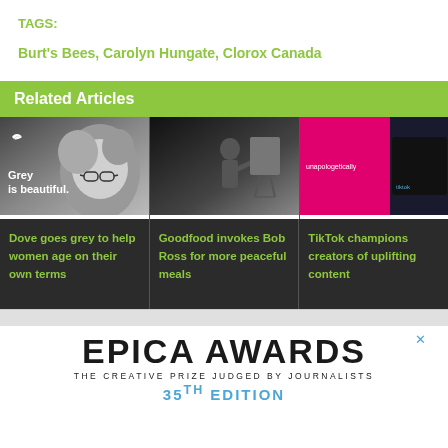TAGS:
Burt's Bees, Carolyn Hungate, Clorox Canada
Related Articles
[Figure (photo): Three article thumbnail images: 1) Black and white photo of older woman with curly hair and glasses with text 'Grey is beautiful.' and a small bird logo; 2) Dark scene of a person painting at an easel; 3) Pink/magenta digital billboard with text 'unapologetically' and TikTok branding]
Dove goes grey to help women age on their own terms
Goodfood invokes Bob Ross for more peaceful meals
TikTok champions creators of uplifting content
[Figure (logo): EPICA AWARDS logo — THE CREATIVE PRIZE JUDGED BY JOURNALISTS — 35TH EDITION]